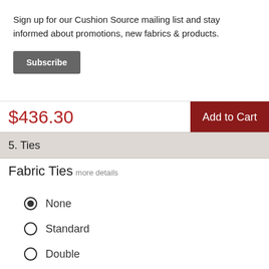Sign up for our Cushion Source mailing list and stay informed about promotions, new fabrics & products.
Subscribe
$436.30
Add to Cart
5. Ties
Fabric Ties  more details
None
Standard
Double
Side